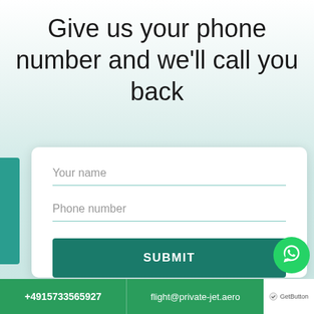Give us your phone number and we'll call you back
[Figure (screenshot): Web form with fields for Your name and Phone number, a SUBMIT button, a WhatsApp floating button, and a bottom bar with phone number +4915733565927 and email flight@private-jet.aero]